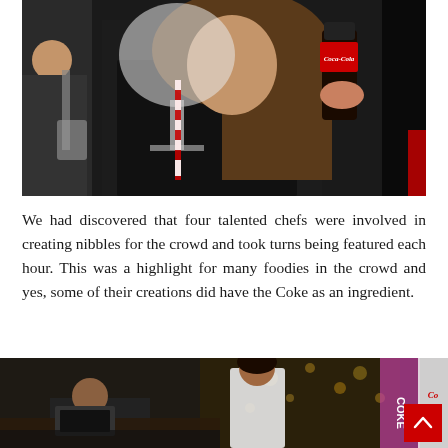[Figure (photo): Person drinking from a large wine glass with a red and white striped straw, holding a Coca-Cola bottle, at an indoor event.]
We had discovered that four talented chefs were involved in creating nibbles for the crowd and took turns being featured each hour. This was a highlight for many foodies in the crowd and yes, some of their creations did have the Coke as an ingredient.
[Figure (photo): Indoor event scene with people at a table, decorative lights, a Coca-Cola branded sign/banner, and a red back-to-top button in the corner.]